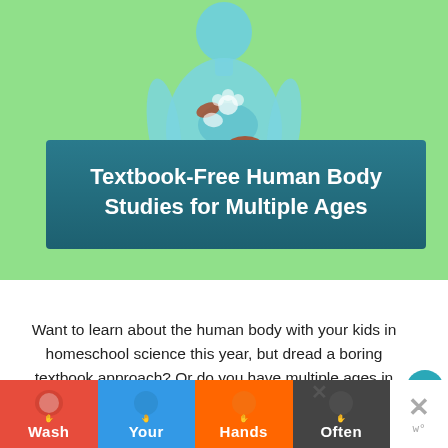[Figure (illustration): Illustration of a human body silhouette in blue/teal on a light green background, with internal organs and bacteria/microbes shown inside the torso area.]
Textbook-Free Human Body Studies for Multiple Ages
Want to learn about the human body with your kids in homeschool science this year, but dread a boring textbook approach? Or do you have multiple ages in your homeschool, and you're looking for a way to study anatomy with all of them in a hands-on, wonder-filled
[Figure (infographic): Advertisement banner with colorful hand washing panels showing: Wash (red background), Your (blue background), Hands (orange background), Often (dark background) with hand icons in each panel.]